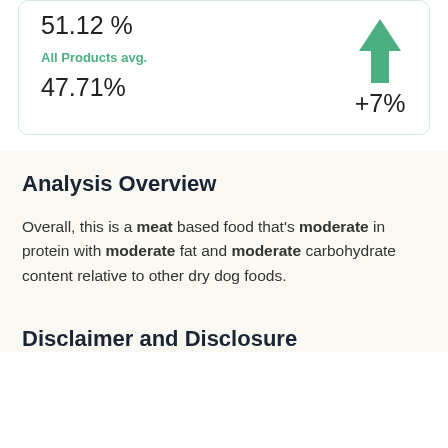51.12 %
All Products avg.
47.71%
+7%
Analysis Overview
Overall, this is a meat based food that's moderate in protein with moderate fat and moderate carbohydrate content relative to other dry dog foods.
Disclaimer and Disclosure